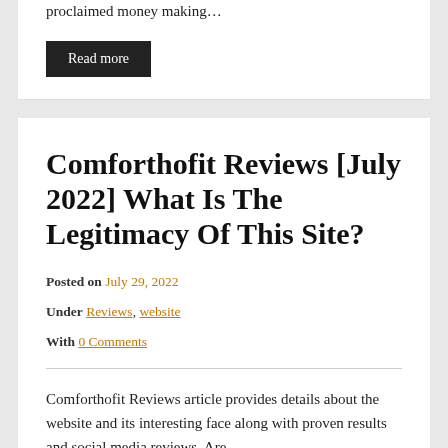proclaimed money making…
Read more
Comforthofit Reviews [July 2022] What Is The Legitimacy Of This Site?
Posted on July 29, 2022
Under Reviews, website
With 0 Comments
Comforthofit Reviews article provides details about the website and its interesting face along with proven results and social media reviews. Are